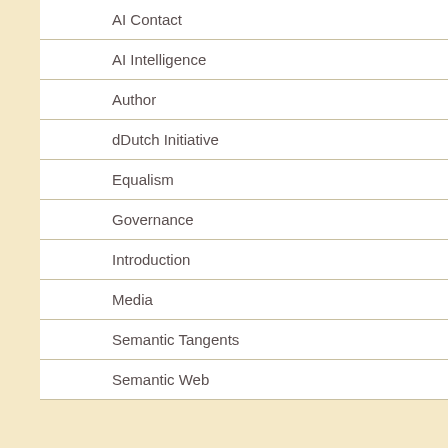AI Contact
AI Intelligence
Author
dDutch Initiative
Equalism
Governance
Introduction
Media
Semantic Tangents
Semantic Web